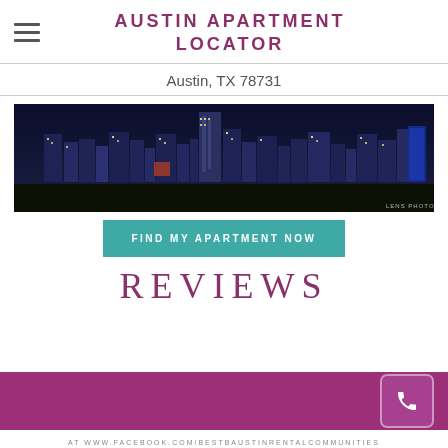AUSTIN APARTMENT LOCATOR
Austin, TX 78731
[Figure (photo): Night skyline panorama of Austin, TX showing illuminated skyscrapers and buildings against a dark blue sky with foreground trees. Watermark 'LENS PHOTOS' in lower right.]
FIND MY APARTMENT NOW
REVIEWS
AT WWW.FACEBOOK.COM/BESTBAUSTINRENTALCOMMUNITIES